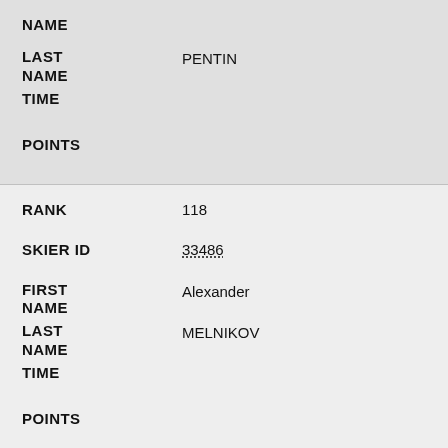NAME
LAST NAME: PENTIN
TIME
POINTS
RANK: 118
SKIER ID: 33486
FIRST NAME: Alexander
LAST NAME: MELNIKOV
TIME
POINTS